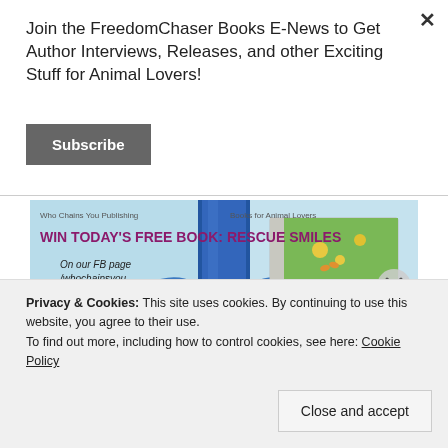Join the FreedomChaser Books E-News to Get Author Interviews, Releases, and other Exciting Stuff for Animal Lovers!
Subscribe
[Figure (illustration): Book giveaway banner: 'Win Today's Free Book: Rescue Smiles' from Who Chains You Publishing, showing a book with a dog on the cover and a blue ribbon gift wrap decoration.]
Privacy & Cookies: This site uses cookies. By continuing to use this website, you agree to their use.
To find out more, including how to control cookies, see here: Cookie Policy
Close and accept